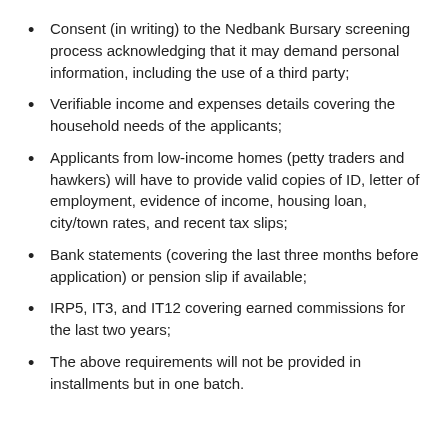Consent (in writing) to the Nedbank Bursary screening process acknowledging that it may demand personal information, including the use of a third party;
Verifiable income and expenses details covering the household needs of the applicants;
Applicants from low-income homes (petty traders and hawkers) will have to provide valid copies of ID, letter of employment, evidence of income, housing loan, city/town rates, and recent tax slips;
Bank statements (covering the last three months before application) or pension slip if available;
IRP5, IT3, and IT12 covering earned commissions for the last two years;
The above requirements will not be provided in installments but in one batch.